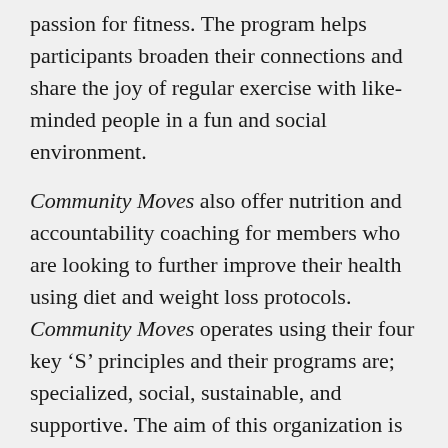passion for fitness. The program helps participants broaden their connections and share the joy of regular exercise with like-minded people in a fun and social environment.
Community Moves also offer nutrition and accountability coaching for members who are looking to further improve their health using diet and weight loss protocols. Community Moves operates using their four key ‘S’ principles and their programs are; specialized, social, sustainable, and supportive. The aim of this organization is to help Australians over the age of fifty to grow stronger, not older while also improving their physical, mental, and social health. Founder of Community Moves, Van Marinos is also planning on growing the business by franchise to help reach more people.
Key Focus Areas